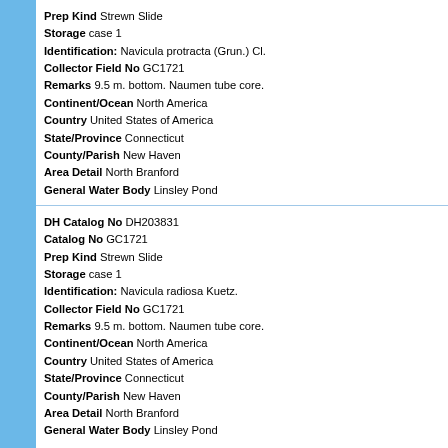Prep Kind Strewn Slide | Storage case 1 | Identification: Navicula protracta (Grun.) Cl. | Collector Field No GC1721 | Remarks 9.5 m. bottom. Naumen tube core. | Continent/Ocean North America | Country United States of America | State/Province Connecticut | County/Parish New Haven | Area Detail North Branford | General Water Body Linsley Pond
DH Catalog No DH203831 | Catalog No GC1721 | Prep Kind Strewn Slide | Storage case 1 | Identification: Navicula radiosa Kuetz. | Collector Field No GC1721 | Remarks 9.5 m. bottom. Naumen tube core. | Continent/Ocean North America | Country United States of America | State/Province Connecticut | County/Parish New Haven | Area Detail North Branford | General Water Body Linsley Pond